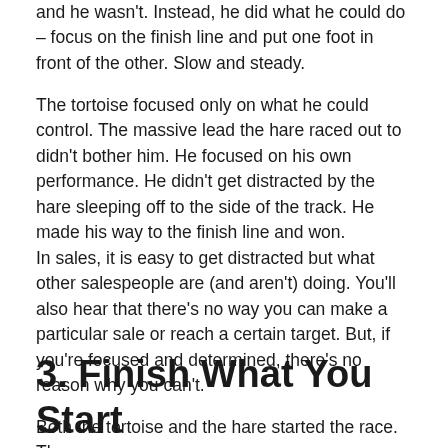and he wasn't. Instead, he did what he could do – focus on the finish line and put one foot in front of the other. Slow and steady.
The tortoise focused only on what he could control. The massive lead the hare raced out to didn't bother him. He focused on his own performance. He didn't get distracted by the hare sleeping off to the side of the track. He made his way to the finish line and won.
In sales, it is easy to get distracted but what other salespeople are (and aren't) doing. You'll also hear that there's no way you can make a particular sale or reach a certain target. But, if you're focused and determined, there's no reason why you can't.
3. Finish What You Start
Both the tortoise and the hare started the race. The tortoise, however, is still finishing the race when...